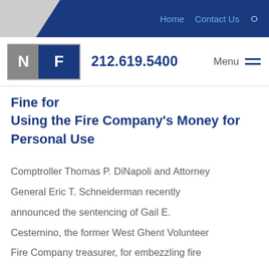Home   Contact Us   🔍
N F   212.619.5400   Menu
Fine for Using the Fire Company's Money for Personal Use
Comptroller Thomas P. DiNapoli and Attorney General Eric T. Schneiderman recently announced the sentencing of Gail E. Cesternino, the former West Ghent Volunteer Fire Company treasurer, for embezzling fire